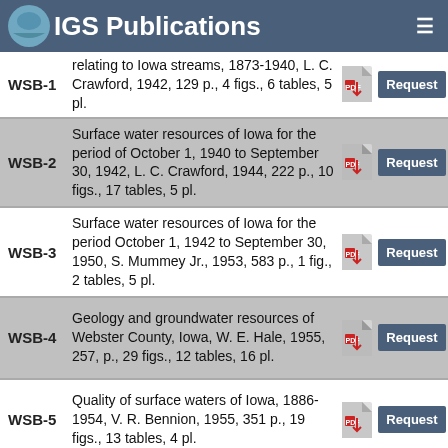IGS Publications
| ID | Description | PDF | Action |
| --- | --- | --- | --- |
| WSB-1 | relating to Iowa streams, 1873-1940, L. C. Crawford, 1942, 129 p., 4 figs., 6 tables, 5 pl. | PDF | Request |
| WSB-2 | Surface water resources of Iowa for the period of October 1, 1940 to September 30, 1942, L. C. Crawford, 1944, 222 p., 10 figs., 17 tables, 5 pl. | PDF | Request |
| WSB-3 | Surface water resources of Iowa for the period October 1, 1942 to September 30, 1950, S. Mummey Jr., 1953, 583 p., 1 fig., 2 tables, 5 pl. | PDF | Request |
| WSB-4 | Geology and groundwater resources of Webster County, Iowa, W. E. Hale, 1955, 257, p., 29 figs., 12 tables, 16 pl. | PDF | Request |
| WSB-5 | Quality of surface waters of Iowa, 1886-1954, V. R. Bennion, 1955, 351 p., 19 figs., 13 tables, 4 pl. | PDF | Request |